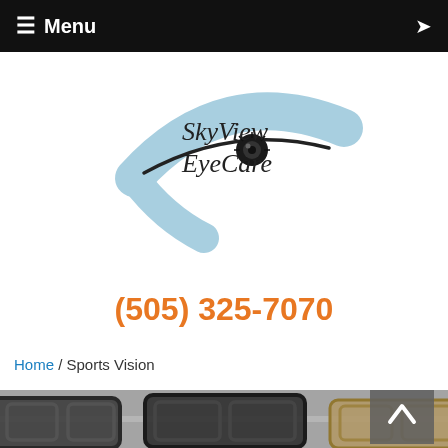≡ Menu
[Figure (logo): SkyView EyeCare logo with stylized eye and swoosh design in light blue]
(505) 325-7070
Home / Sports Vision
[Figure (photo): Photo of eyeglasses frames displayed on a surface, multiple frames visible]